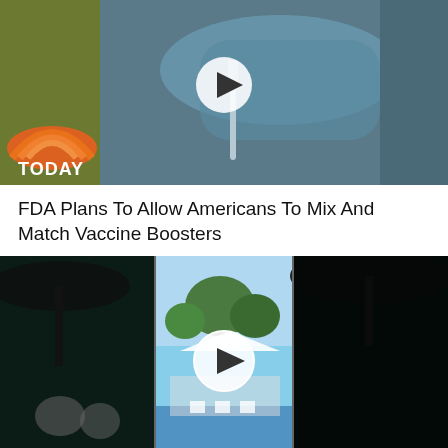[Figure (screenshot): Video thumbnail showing a gloved hand holding a syringe/vaccine, with TODAY show logo overlay and a play button in the center]
FDA Plans To Allow Americans To Mix And Match Vaccine Boosters
[Figure (screenshot): Video thumbnail showing an outdoor pool scene with people gathered, with a play button in the center, appearing in a triptych/three-panel format]